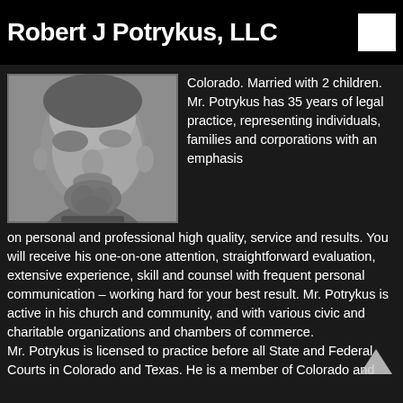Robert J Potrykus, LLC
[Figure (photo): Black and white close-up portrait photo of a middle-aged man with a goatee/beard, looking slightly downward]
Colorado. Married with 2 children. Mr. Potrykus has 35 years of legal practice, representing individuals, families and corporations with an emphasis on personal and professional high quality, service and results. You will receive his one-on-one attention, straightforward evaluation, extensive experience, skill and counsel with frequent personal communication – working hard for your best result. Mr. Potrykus is active in his church and community, and with various civic and charitable organizations and chambers of commerce.
Mr. Potrykus is licensed to practice before all State and Federal Courts in Colorado and Texas. He is a member of Colorado and